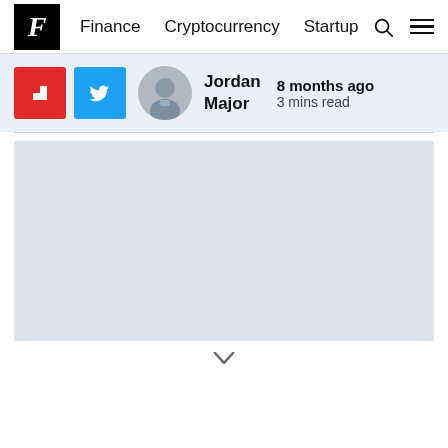Finance  Cryptocurrency  Startup
[Figure (screenshot): Author social share bar with Flipboard and Twitter buttons, circular author avatar, author name Jordan Major, timestamp 8 months ago, 3 mins read]
[Figure (photo): Large light blue-gray image placeholder area below the author bar]